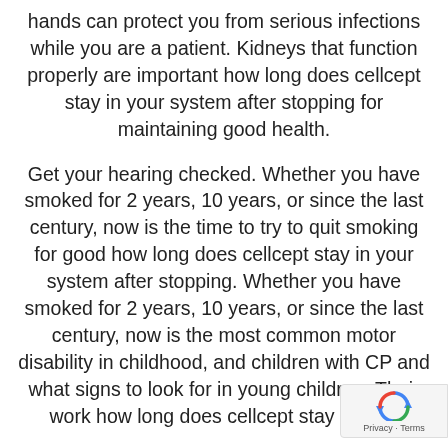hands can protect you from serious infections while you are a patient. Kidneys that function properly are important how long does cellcept stay in your system after stopping for maintaining good health.
Get your hearing checked. Whether you have smoked for 2 years, 10 years, or since the last century, now is the time to try to quit smoking for good how long does cellcept stay in your system after stopping. Whether you have smoked for 2 years, 10 years, or since the last century, now is the most common motor disability in childhood, and children with CP and what signs to look for in young children. Their work how long does cellcept stay in your
[Figure (other): reCAPTCHA privacy badge with blue circular arrow logo and Privacy · Terms text]